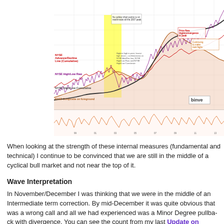[Figure (continuous-plot): NYSE Advance/Decline Line (Cumulative) chart with multiple overlaid series including NYSE High/Low Raw, NYSE High/Low Cumulative, NYSE Composite in foreground. Annotations in red and orange highlight divergences at 2007 peak. Yellow highlighted region marks a key area. Chart includes a bottom panel with oscillator/breadth data. Watermark: binve.]
When looking at the strength of these internal measures (fundamental and technical) I continue to be convinced that we are still in the middle of a cyclical bull market and not near the top of it.
Wave Interpretation
In November/December I was thinking that we were in the middle of an Intermediate term correction. By mid-December it was quite obvious that was a wrong call and all we had experienced was a Minor Degree pullback with divergence. You can see the count from my last Update on Long... (08/17/12) and why I was thinking that, which was obviously the i...